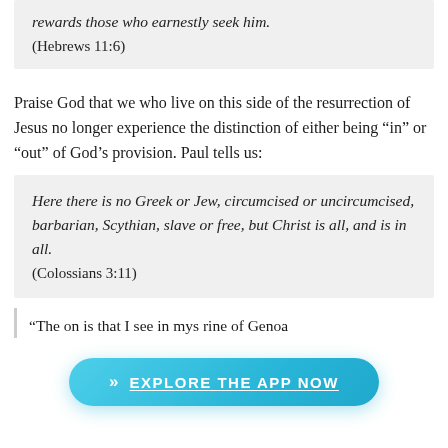rewards those who earnestly seek him.
(Hebrews 11:6)
Praise God that we who live on this side of the resurrection of Jesus no longer experience the distinction of either being “in” or “out” of God’s provision. Paul tells us:
Here there is no Greek or Jew, circumcised or uncircumcised, barbarian, Scythian, slave or free, but Christ is all, and is in all.
(Colossians 3:11)
“The on... is that I see in mys... rine of Genoa